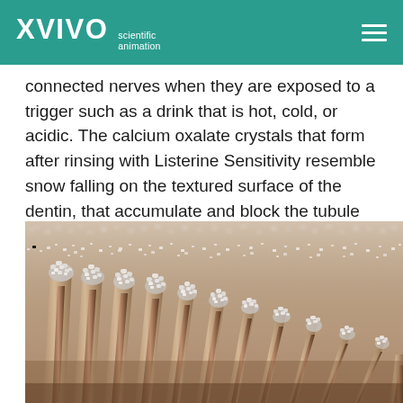XVIVO scientific animation
connected nerves when they are exposed to a trigger such as a drink that is hot, cold, or acidic. The calcium oxalate crystals that form after rinsing with Listerine Sensitivity resemble snow falling on the textured surface of the dentin, that accumulate and block the tubule openings.
[Figure (illustration): Scientific 3D animation still showing calcium oxalate crystals (white/grey granular particles) accumulating and blocking the openings of dentinal tubules. The tubules appear as tall cylindrical columns with a brownish-tan texture, fanning outward. White crystalline particles appear scattered densely across the surface, clustered particularly at the tops of the tubule openings, resembling snow falling on the structures.]